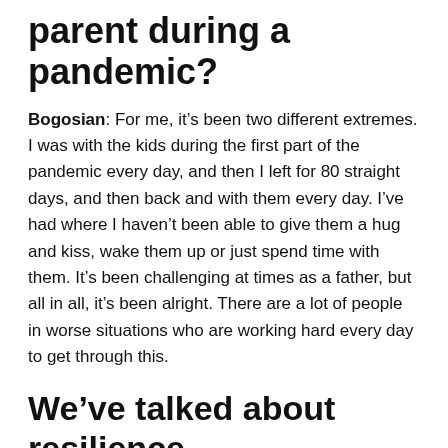parent during a pandemic?
Bogosian: For me, it’s been two different extremes. I was with the kids during the first part of the pandemic every day, and then I left for 80 straight days, and then back and with them every day. I’ve had where I haven’t been able to give them a hug and kiss, wake them up or just spend time with them. It’s been challenging at times as a father, but all in all, it’s been alright. There are a lot of people in worse situations who are working hard every day to get through this.
We’ve talked about resilience and failure being a good thing—what lesson has it